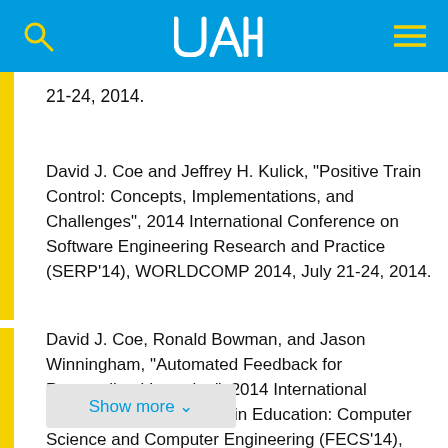UAH
21-24, 2014.
David J. Coe and Jeffrey H. Kulick, "Positive Train Control: Concepts, Implementations, and Challenges", 2014 International Conference on Software Engineering Research and Practice (SERP'14), WORLDCOMP 2014, July 21-24, 2014.
David J. Coe, Ronald Bowman, and Jason Winningham, "Automated Feedback for Personalized Learning", 2014 International Conference on Frontiers in Education: Computer Science and Computer Engineering (FECS'14), WORLDCOMP 2014, July 21-24, 2014.
Show more